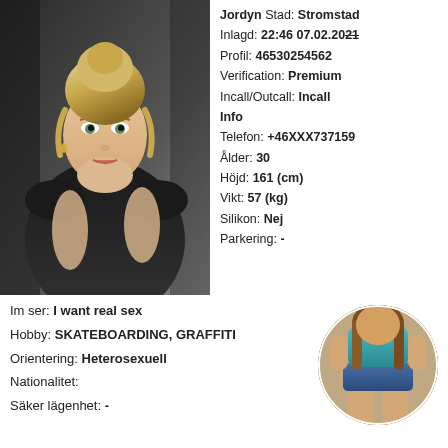[Figure (photo): Main photo of a blonde woman in a black outfit]
Jordyn Stad: Stromstad
Inlagd: 22:46 07.02.2021
Profil: 46530254562
Verification: Premium
Incall/Outcall: Incall
Info
Telefon: +46XXX737159
Ålder: 30
Höjd: 161 (cm)
Vikt: 57 (kg)
Silikon: Nej
Parkering: -
Im ser: I want real sex
Hobby: SKATEBOARDING, GRAFFITI
Orientering: Heterosexuell
Nationalitet:
Säker lägenhet: -
[Figure (photo): Small circular thumbnail photo of a woman in teal top and denim shorts]